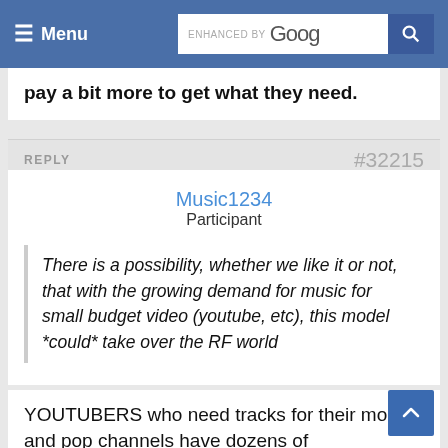Menu | ENHANCED BY Google [search]
pay a bit more to get what they need.
REPLY	#32215
Music1234
Participant
There is a possibility, whether we like it or not, that with the growing demand for music for small budget video (youtube, etc), this model *could* take over the RF world
YOUTUBERS who need tracks for their mom and pop channels have dozens of